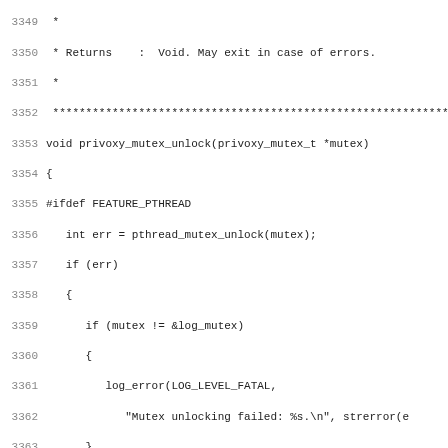Source code listing lines 3349-3381, showing privoxy_mutex_unlock and privoxy_mutex_init function definitions with pthreads and critical section handling